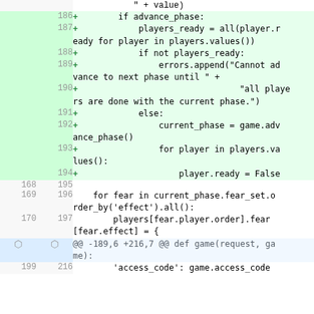[Figure (screenshot): Git diff view showing added lines 186-194 (green background) with line numbers, then context lines 168/195, 169/196, 170/197, a hunk header, and a partial line 199/216. Code is Python showing game phase advancement logic.]